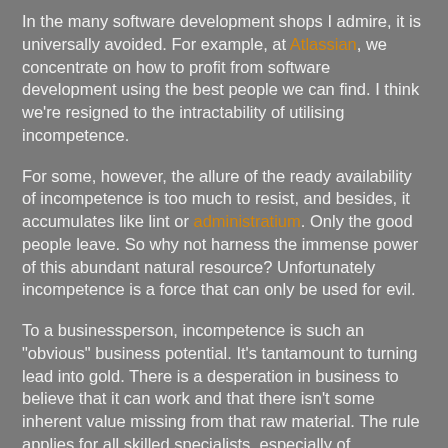In the many software development shops I admire, it is universally avoided. For example, at Atlassian, we concentrate on how to profit from software development using the best people we can find. I think we're resigned to the intractability of utilising incompetence.
For some, however, the allure of the ready availability of incompetence is too much to resist, and besides, it accumulates like lint or administratium. Only the good people leave. So why not harness the immense power of this abundant natural resource? Unfortunately incompetence is a force that can only be used for evil.
To a businessperson, incompetence is such an "obvious" business potential. It's tantamount to turning lead into gold. There is a desperation in business to believe that it can work and that there isn't some inherent value missing from that raw material. The rule applies for all skilled specialists, especially of newfangled, esoteric or otherwise incomprehensible arts.
In software development there's a long legacy of tools